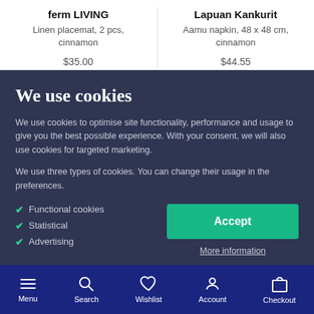ferm LIVING
Linen placemat, 2 pcs, cinnamon
$35.00
Lapuan Kankurit
Aamu napkin, 48 x 48 cm, cinnamon
$44.55
We use cookies
We use cookies to optimise site functionality, performance and usage to give you the best possible experience. With your consent, we will also use cookies for targeted marketing.
We use three types of cookies. You can change their usage in the preferences.
Functional cookies
Statistical
Advertising
Accept
More information
Menu | Search | Wishlist | Account | Checkout